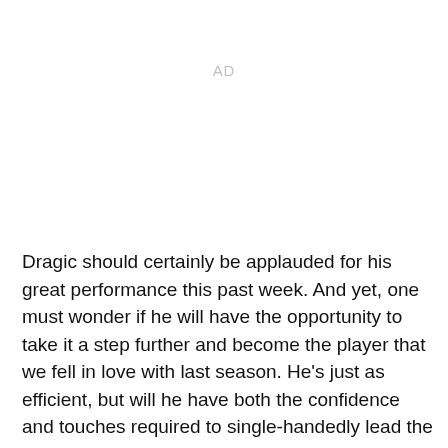AD
Dragic should certainly be applauded for his great performance this past week. And yet, one must wonder if he will have the opportunity to take it a step further and become the player that we fell in love with last season. He's just as efficient, but will he have both the confidence and touches required to single-handedly lead the Suns to victory when they need him to step up?